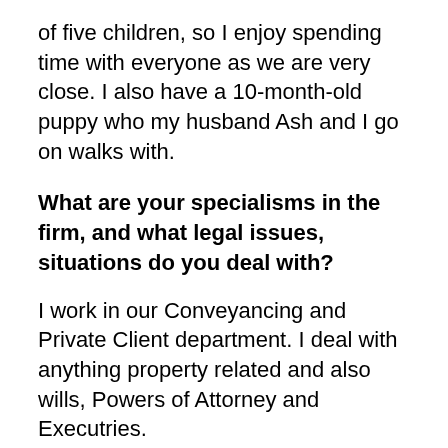of five children, so I enjoy spending time with everyone as we are very close. I also have a 10-month-old puppy who my husband Ash and I go on walks with.
What are your specialisms in the firm, and what legal issues, situations do you deal with?
I work in our Conveyancing and Private Client department. I deal with anything property related and also wills, Powers of Attorney and Executries.
Can you provide an overview of conveyancing and what it entails?
Conveyancing is essentially all matters relating to property. The most common issues we deal with are; sales, purchases and transfers of title to a property. We also deal with discharges and re-mortgages.